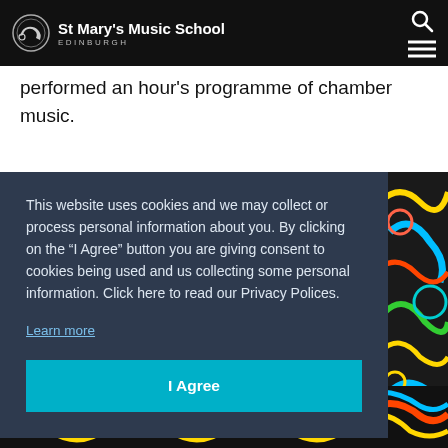St Mary's Music School EDINBURGH
performed an hour's programme of chamber music.
This website uses cookies and we may collect or process personal information about you. By clicking on the “I Agree” button you are giving consent to cookies being used and us collecting some personal information. Click here to read our Privacy Polices.
Learn more
I Agree
[Figure (photo): Colorful swirling decorative pattern with blues, reds, yellows on black background, partially visible on the right side and bottom of the page.]